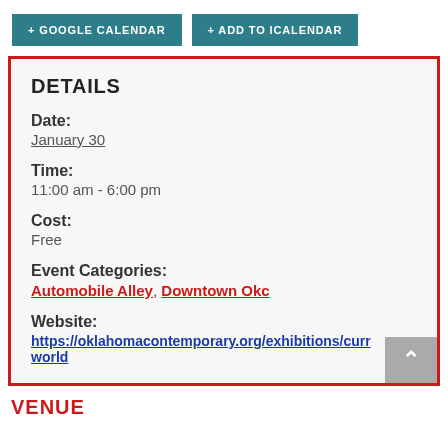+ GOOGLE CALENDAR   + ADD TO ICALENDAR
DETAILS
Date:
January 30
Time:
11:00 am - 6:00 pm
Cost:
Free
Event Categories:
Automobile Alley, Downtown Okc
Website:
https://oklahomacontemporary.org/exhibitions/curr world
VENUE